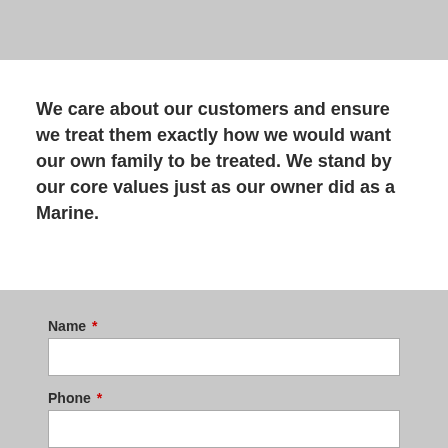[Figure (photo): Gray image placeholder at top of page]
We care about our customers and ensure we treat them exactly how we would want our own family to be treated. We stand by our core values just as our owner did as a Marine.
Name *
Phone *